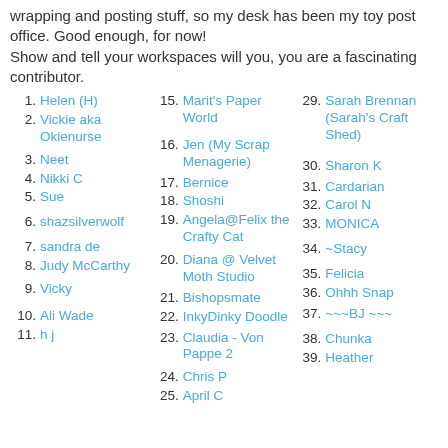wrapping and posting stuff, so my desk has been my toy post office. Good enough, for now!
Show and tell your workspaces will you, you are a fascinating contributor.
1. Helen (H)
2. Vickie aka Okienurse
3. Neet
4. Nikki C
5. Sue
6. shazsilverwolf
7. sandra de
8. Judy McCarthy
9. Vicky
10. Ali Wade
11. h j
15. Marit's Paper World
16. Jen (My Scrap Menagerie)
17. Bernice
18. Shoshi
19. Angela@Felix the Crafty Cat
20. Diana @ Velvet Moth Studio
21. Bishopsmate
22. InkyDinky Doodle
23. Claudia - Von Pappe 2
24. Chris P
25. April C
29. Sarah Brennan (Sarah's Craft Shed)
30. Sharon K
31. Cardarian
32. Carol N
33. MONICA
34. ~Stacy
35. Felicia
36. Ohhh Snap
37. ~~~BJ ~~~
38. Chunka
39. Heather